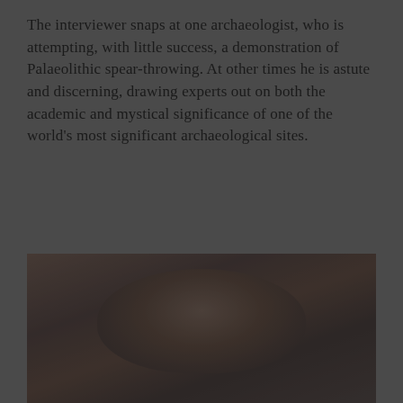The interviewer snaps at one archaeologist, who is attempting, with little success, a demonstration of Palaeolithic spear-throwing. At other times he is astute and discerning, drawing experts out on both the academic and mystical significance of one of the world's most significant archaeological sites.
READ MORE
[Figure (photo): A blurred, dark portrait photograph of a person's face, partially visible, with muted dark tones.]